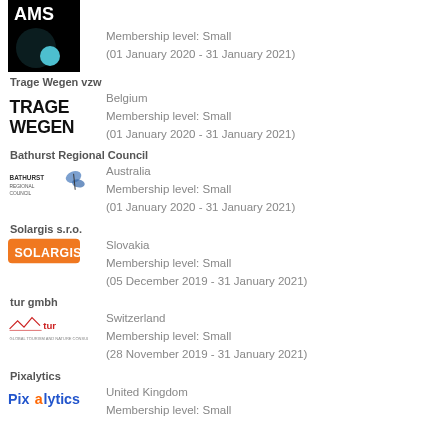[Figure (logo): AMS logo - black and teal geometric design, partially visible at top]
Membership level: Small
(01 January 2020 - 31 January 2021)
Trage Wegen vzw
[Figure (logo): Trage Wegen logo - black text on white background]
Belgium
Membership level: Small
(01 January 2020 - 31 January 2021)
Bathurst Regional Council
[Figure (logo): Bathurst Regional Council logo with butterfly]
Australia
Membership level: Small
(01 January 2020 - 31 January 2021)
Solargis s.r.o.
[Figure (logo): Solargis logo - orange rounded rectangle with white text]
Slovakia
Membership level: Small
(05 December 2019 - 31 January 2021)
tur gmbh
[Figure (logo): tur gmbh logo - red text with tagline]
Switzerland
Membership level: Small
(28 November 2019 - 31 January 2021)
Pixalytics
[Figure (logo): Pixalytics logo - blue and orange text]
United Kingdom
Membership level: Small